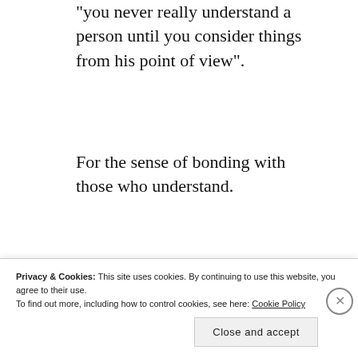“you never really understand a person until you consider things from his point of view”.
For the sense of bonding with those who understand.
It’s just nice, even when I’m not feeling always up to going, to get out and spend a few hours, one evening every few weeks, at my favourite place: the library.
Privacy & Cookies: This site uses cookies. By continuing to use this website, you agree to their use.
To find out more, including how to control cookies, see here: Cookie Policy
Close and accept